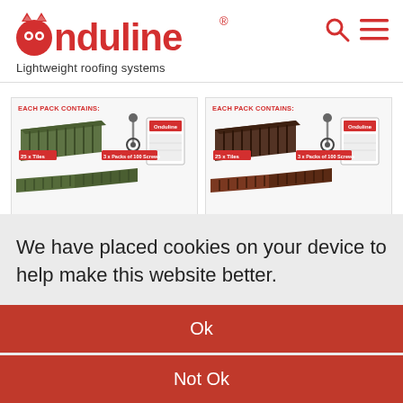Onduline® — Lightweight roofing systems
[Figure (screenshot): Two product pack images side by side: green roofing tiles pack (left) and brown/dark red roofing tiles pack (right), each labeled EACH PACK CONTAINS with tile and screw badges]
We have placed cookies on your device to help make this website better.
Ok
Not Ok